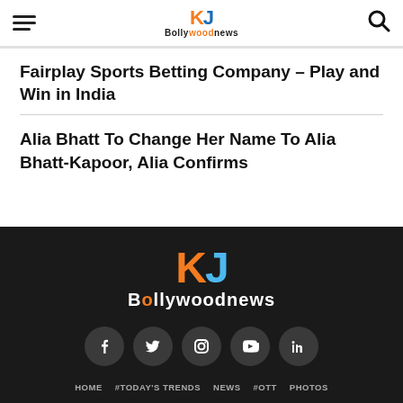KJ Bollywoodnews
Fairplay Sports Betting Company – Play and Win in India
Alia Bhatt To Change Her Name To Alia Bhatt-Kapoor, Alia Confirms
[Figure (logo): KJ Bollywoodnews logo in footer]
[Figure (infographic): Social media icons: Facebook, Twitter, Instagram, YouTube, LinkedIn]
HOME  #TODAY'S TRENDS  NEWS  #OTT  PHOTOS